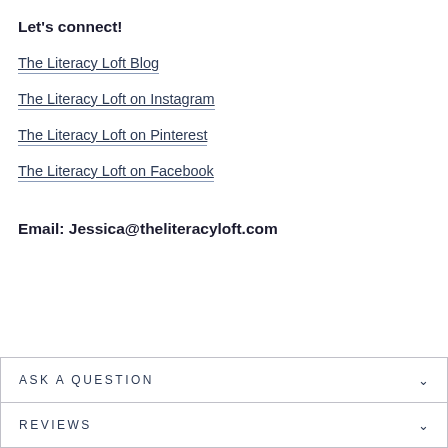Let's connect!
The Literacy Loft Blog
The Literacy Loft on Instagram
The Literacy Loft on Pinterest
The Literacy Loft on Facebook
Email: Jessica@theliteracyloft.com
ASK A QUESTION
REVIEWS